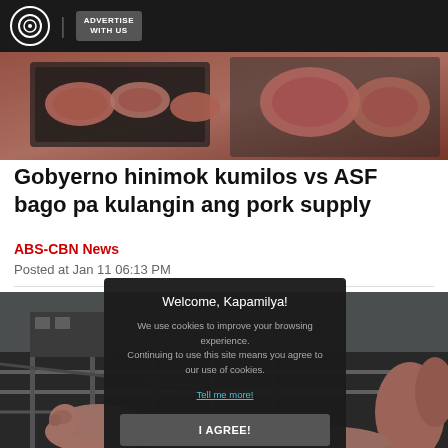ABS-CBN | ADVERTISE WITH US
[Figure (photo): Close-up photo of raw pork meat cuts displayed on trays]
Gobyerno hinimok kumilos vs ASF bago pa kulangin ang pork supply
ABS-CBN News
Posted at Jan 11 06:13 PM
[Figure (photo): Photo of pigs in a farm pen with metal railings]
Welcome, Kapamilya!

We use cookies to improve your browsing experience.
Continuing to use this site means you agree to our use of cookies.

Tell me more!

I AGREE!